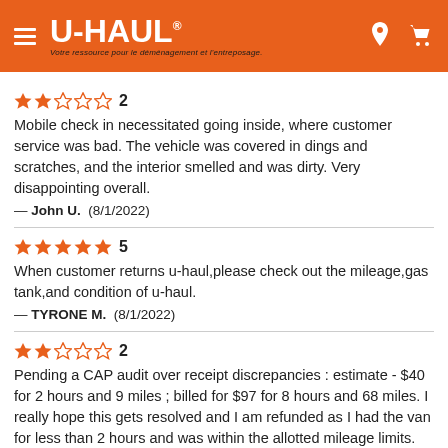U-HAUL — Votre ressource pour le déménagement et l'entreposage.
★★☆☆☆ 2
Mobile check in necessitated going inside, where customer service was bad. The vehicle was covered in dings and scratches, and the interior smelled and was dirty. Very disappointing overall.
— John U. (8/1/2022)
★★★★★ 5
When customer returns u-haul,please check out the mileage,gas tank,and condition of u-haul.
— TYRONE M. (8/1/2022)
★★☆☆☆ 2
Pending a CAP audit over receipt discrepancies : estimate - $40 for 2 hours and 9 miles ; billed for $97 for 8 hours and 68 miles. I really hope this gets resolved and I am refunded as I had the van for less than 2 hours and was within the allotted mileage limits. The...